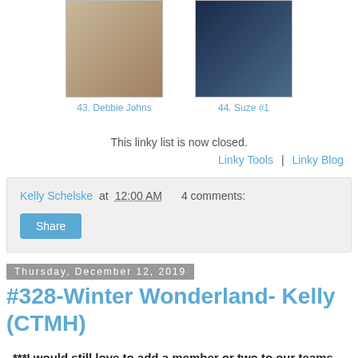[Figure (photo): Two craft/card thumbnail images side by side]
43. Debbie Johns
44. Suze #1
This linky list is now closed.
Linky Tools  |  Linky Blog
Kelly Schelske at 12:00 AM    4 comments:
Share
Thursday, December 12, 2019
#328-Winter Wonderland- Kelly (CTMH)
***I would still love to add a member or two to our teams, so if that interests you, please check out the Design Team Call tab at